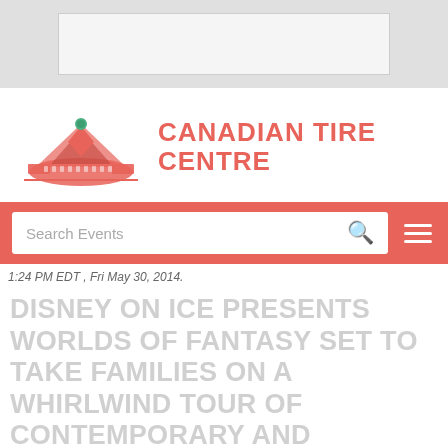[Figure (screenshot): Gray top banner with a light gray advertisement placeholder box]
[Figure (logo): Canadian Tire Centre logo: stylized arena building illustration in red/pink with a green dome accent, beside bold red text reading CANADIAN TIRE CENTRE]
[Figure (screenshot): Red navigation bar with a white search box reading 'Search Events' with a pink magnifying glass icon, and a white hamburger menu icon on the right]
1:24 PM EDT , Fri May 30, 2014.
DISNEY ON ICE PRESENTS WORLDS OF FANTASY SET TO TAKE FAMILIES ON A WHIRLWIND TOUR OF CONTEMPORARY AND CLASSIC